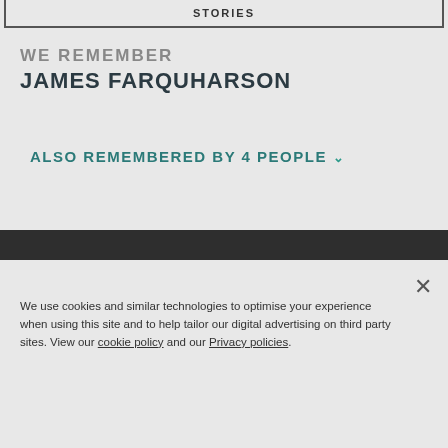STORIES
WE REMEMBER
JAMES FARQUHARSON
ALSO REMEMBERED BY 4 PEOPLE
We use cookies and similar technologies to optimise your experience when using this site and to help tailor our digital advertising on third party sites. View our cookie policy and our Privacy policies.